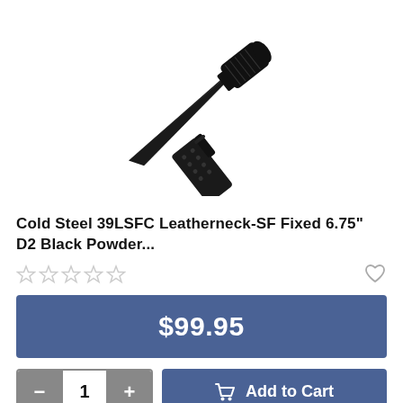[Figure (photo): A black fixed-blade knife (Cold Steel 39LSFC Leatherneck-SF) with a textured handle, shown diagonally alongside its black scabbard/sheath with rivets and a strap.]
Cold Steel 39LSFC Leatherneck-SF Fixed 6.75" D2 Black Powder...
☆☆☆☆☆ (0 star rating, empty stars)
$99.95
1  Add to Cart